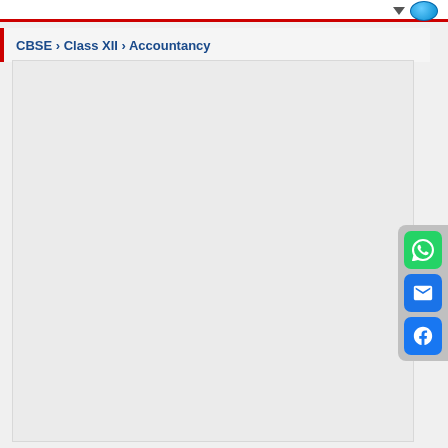CBSE > Class XII > Accountancy
[Figure (screenshot): Empty content area / advertisement placeholder with light gray background]
[Figure (infographic): Social sharing panel with WhatsApp (green), Email (blue), and Facebook (blue) icon buttons on gray background]